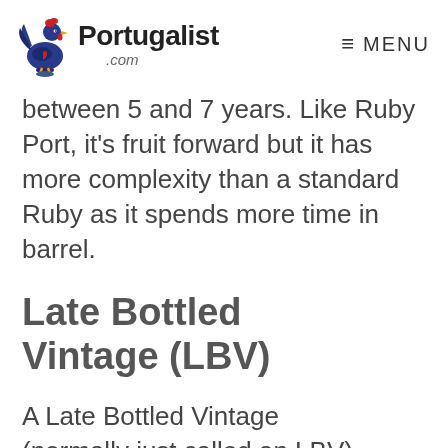Portugalist .com   MENU
between 5 and 7 years. Like Ruby Port, it's fruit forward but it has more complexity than a standard Ruby as it spends more time in barrel.
Late Bottled Vintage (LBV)
A Late Bottled Vintage (normally just called an LBV) is one of the…